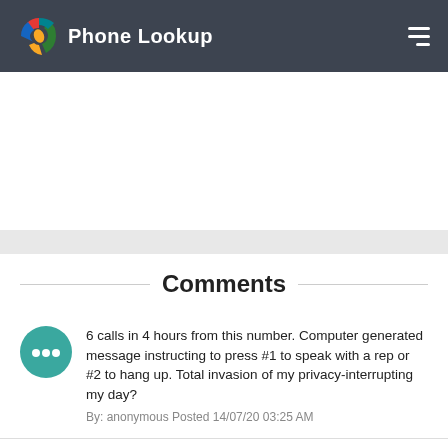Phone Lookup
Comments
6 calls in 4 hours from this number. Computer generated message instructing to press #1 to speak with a rep or #2 to hang up. Total invasion of my privacy-interrupting my day?
By: anonymous Posted 14/07/20 03:25 AM
calls daily leave no message, ID indicates from Upland CA
By: anonymous Posted 13/07/20 10:59 AM